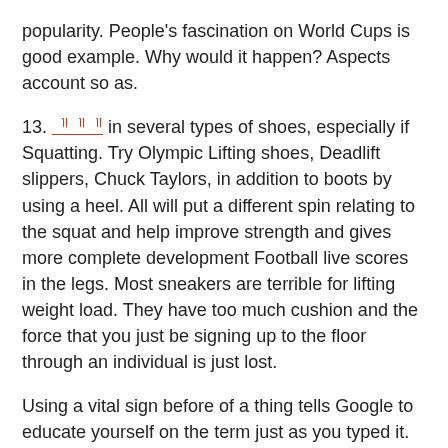popularity. People's fascination on World Cups is good example. Why would it happen? Aspects account so as.
13. [link] in several types of shoes, especially if Squatting. Try Olympic Lifting shoes, Deadlift slippers, Chuck Taylors, in addition to boots by using a heel. All will put a different spin relating to the squat and help improve strength and gives more complete development Football live scores in the legs. Most sneakers are terrible for lifting weight load. They have too much cushion and the force that you just be signing up to the floor through an individual is just lost.
Using a vital sign before of a thing tells Google to educate yourself on the term just as you typed it. This basically deactivates Google from making its usual assumptions relating to your intent. So, usually Google would assume an internet search for “solor energy” was supposed to for “solar energy.” Get new search to “+solor energy” and that’s exactly what you can receive (a volcanic island, should